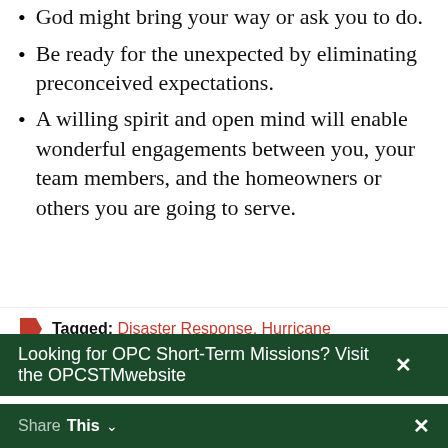God might bring your way or ask you to do.
Be ready for the unexpected by eliminating preconceived expectations.
A willing spirit and open mind will enable wonderful engagements between you, your team members, and the homeowners or others you are going to serve.
Tagged: Disaster Response, Hurricane
Looking for OPC Short-Term Missions? Visit the OPCSTMwebsite
Share This